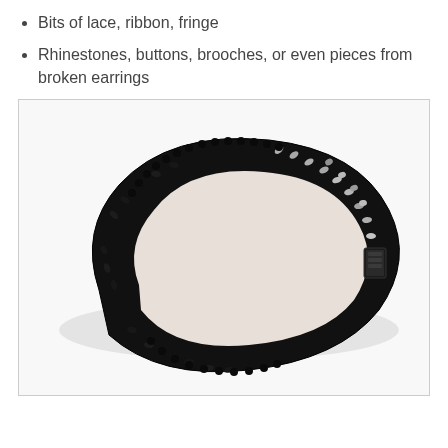Bits of lace, ribbon, fringe
Rhinestones, buttons, brooches, or even pieces from broken earrings
[Figure (photo): A black sequined headband with silver sequins in the center, photographed on a white background. The headband is laid flat showing its oval shape with a clasp visible on the right side.]